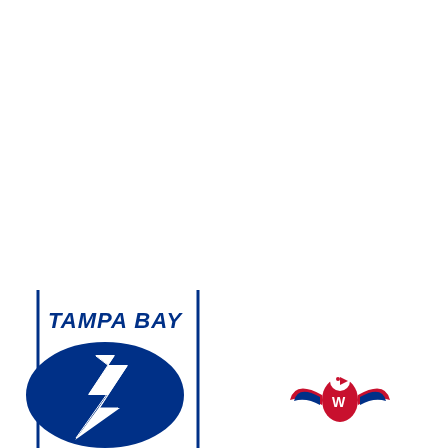[Figure (logo): Tampa Bay Lightning NHL team logo with lightning bolt and 'TAMPA BAY' text in blue, positioned at bottom-left. A vertical blue line divides the left section. Washington Capitals eagle logo in red and blue appears at bottom-center.]